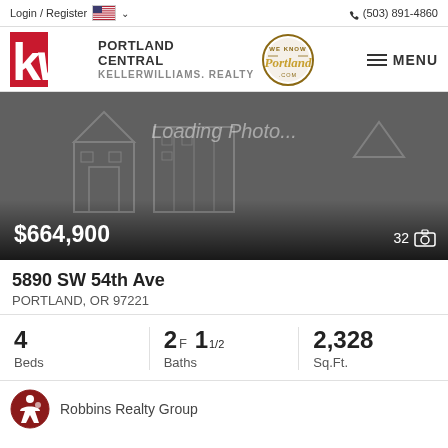Login / Register  (503) 891-4860
[Figure (logo): KW Portland Central Keller Williams Realty logo with Portland badge]
[Figure (photo): Loading Photo... placeholder image with house outline graphic, showing price $664,900 and 32 photos indicator]
5890 SW 54th Ave
PORTLAND, OR 97221
4 Beds  2F 11/2 Baths  2,328 Sq.Ft.
Robbins Realty Group